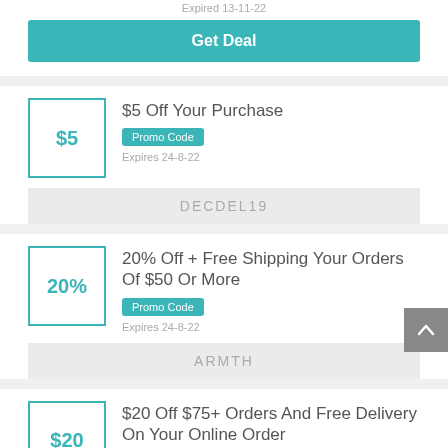Expired 13-11-22
Get Deal
$5 Off Your Purchase
Promo Code
Expires 24-8-22
DECDEL19
20% Off + Free Shipping Your Orders Of $50 Or More
Promo Code
Expires 24-8-22
ARMTH
$20 Off $75+ Orders And Free Delivery On Your Online Order
Promo Code